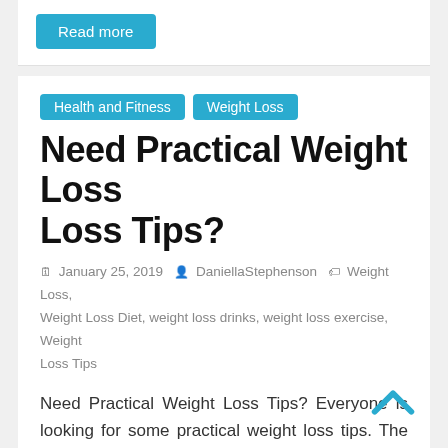Read more
Health and Fitness  Weight Loss
Need Practical Weight Loss Tips?
January 25, 2019  DaniellaStephenson  Weight Loss, Weight Loss Diet, weight loss drinks, weight loss exercise, Weight Loss Tips
Need Practical Weight Loss Tips? Everyone is looking for some practical weight loss tips. The fastest way to losing those